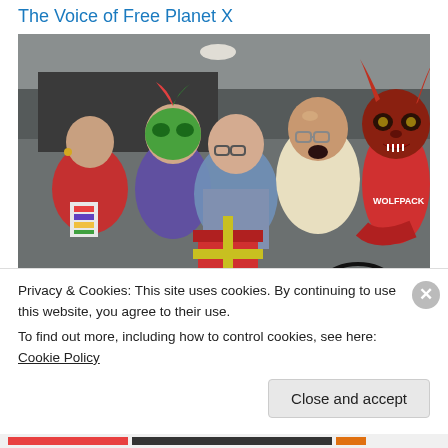The Voice of Free Planet X
[Figure (photo): Group photo of five people, some wearing masquerade/costume masks. From left: woman in red dress with conference badge, person in green feathered mask and purple outfit, person with glasses and blue patterned shirt holding a red gift box, bald man with glasses in cream jacket making a surprised face, and person in red Wolfpack t-shirt wearing a large decorative devil/horned mask. A circular logo reading 'THE VOICE' is partially visible in the lower right corner.]
Privacy & Cookies: This site uses cookies. By continuing to use this website, you agree to their use.
To find out more, including how to control cookies, see here: Cookie Policy
Close and accept